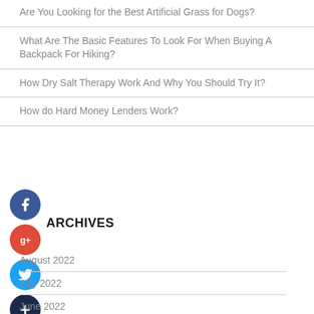Are You Looking for the Best Artificial Grass for Dogs?
What Are The Basic Features To Look For When Buying A Backpack For Hiking?
How Dry Salt Therapy Work And Why You Should Try It?
How do Hard Money Lenders Work?
ARCHIVES
August 2022
July 2022
June 2022